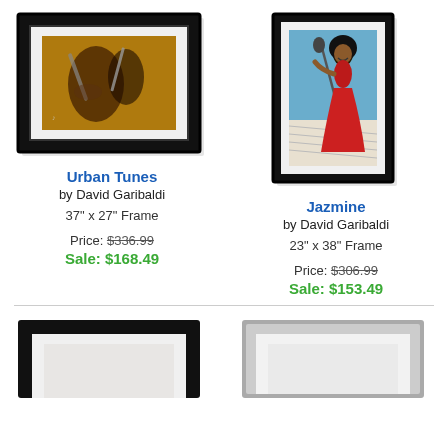[Figure (illustration): Framed art print 'Urban Tunes' by David Garibaldi - jazz musician painting in black frame with white mat, landscape orientation]
[Figure (illustration): Framed art print 'Jazmine' by David Garibaldi - woman singer in red dress in black frame with white mat, portrait orientation]
Urban Tunes
by David Garibaldi
37" x 27" Frame
Price: $336.99
Sale: $168.49
Jazmine
by David Garibaldi
23" x 38" Frame
Price: $306.99
Sale: $153.49
[Figure (illustration): Partial view of black framed art print at bottom left, cut off]
[Figure (illustration): Partial view of silver/gray framed art print at bottom right, cut off]